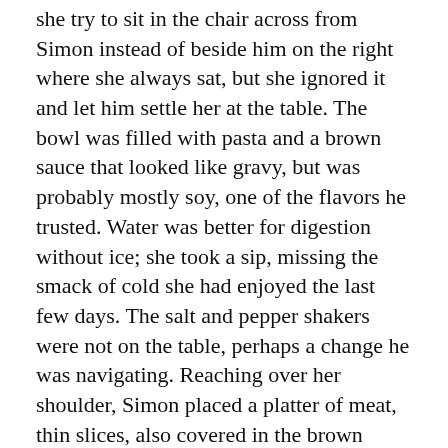she try to sit in the chair across from Simon instead of beside him on the right where she always sat, but she ignored it and let him settle her at the table. The bowl was filled with pasta and a brown sauce that looked like gravy, but was probably mostly soy, one of the flavors he trusted. Water was better for digestion without ice; she took a sip, missing the smack of cold she had enjoyed the last few days. The salt and pepper shakers were not on the table, perhaps a change he was navigating. Reaching over her shoulder, Simon placed a platter of meat, thin slices, also covered in the brown sauce, next to the pasta.
“A little grace?” He reached for her hand and she flinched when the hot smooth fingers grasped hers. For some reason the blessing before the meal had stayed with him from childhood, even though like Maggie, he had abandoned all other pieces of religion.
When he finished giving thanks and released her hand, he began spooning food onto her plate, counting the noodles as they fell. He stopped at twenty-seven and looked at her, his